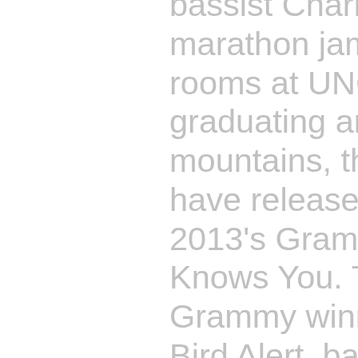bassist Charles Humphrey led marathon jam sessions in their dorm rooms at UNC-Chapel Hill. After graduating and moving to the mountains, they formed SCR, and have released 10 albums, including 2013's Grammy-winning Nobody Knows You. They recorded another Grammy winner, the 2011 disc Pete Bird Alert, backing banjo player and iconic comedian Steve Martin, earning an Entertainer of the Year award with Martin from the International Bluegrass Music Association.

The group has a new record on Rounder titled Radio, and this month they're holding their 10th annual, three-day Mountain Song Festival,